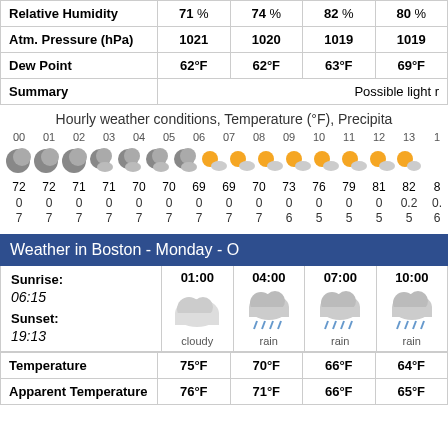|  | Col1 | Col2 | Col3 | Col4 |
| --- | --- | --- | --- | --- |
| Relative Humidity | 71 % | 74 % | 82 % | 80 % |
| Atm. Pressure (hPa) | 1021 | 1020 | 1019 | 1019 |
| Dew Point | 62°F | 62°F | 63°F | 69°F |
| Summary |  |  |  | Possible light r... |
Hourly weather conditions, Temperature (°F), Precipita...
[Figure (infographic): Hourly weather icon strip showing moon/cloud icons for hours 00-06 and sun/cloud icons for hours 07-13+, with temperature row (72,72,71,71,70,70,69,69,70,73,76,79,81,82,8...), precipitation row (0,0,0,0,0,0,0,0,0,0,0,0,0,0.2,0...), wind row (7,7,7,7,7,7,7,7,7,6,5,5,5,5,6...)]
Weather in Boston - Monday - ...
|  | 01:00 | 04:00 | 07:00 | 10:00 |
| --- | --- | --- | --- | --- |
| Sunrise: 06:15 / Sunset: 19:13 | cloudy | rain | rain | rain |
| Temperature | 75°F | 70°F | 66°F | 64°F |
| Apparent Temperature | 76°F | 71°F | 66°F | 65°F |